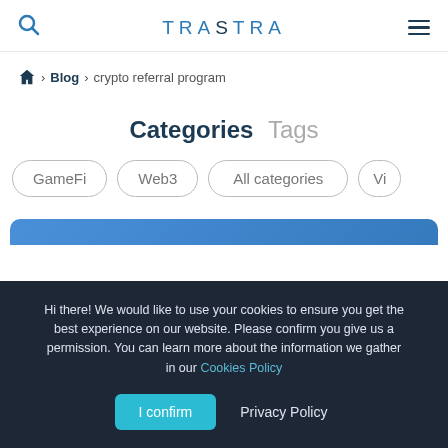TRASTRA
Home > Blog > crypto referral program
Categories  Tags
GameFi
Web3
All categories
Vi...
Hi there! We would like to use your cookies to ensure you get the best experience on our website. Please confirm you give us a permission. You can learn more about the information we gather in our Cookies Policy
I confirm  Privacy Policy